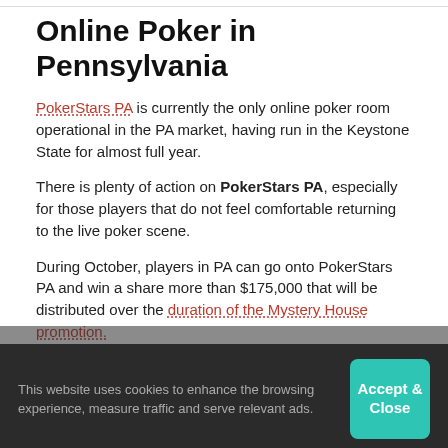Online Poker in Pennsylvania
PokerStars PA is currently the only online poker room operational in the PA market, having run in the Keystone State for almost full year.
There is plenty of action on PokerStars PA, especially for those players that do not feel comfortable returning to the live poker scene.
During October, players in PA can go onto PokerStars PA and win a share more than $175,000 that will be distributed over the duration of the Mystery House promotion.
Players will need to either collect three keys from three different rooms (as every room can only be entered once) or
This website uses cookies to enhance the browsing experience, measure traffic and serve relevant ads.